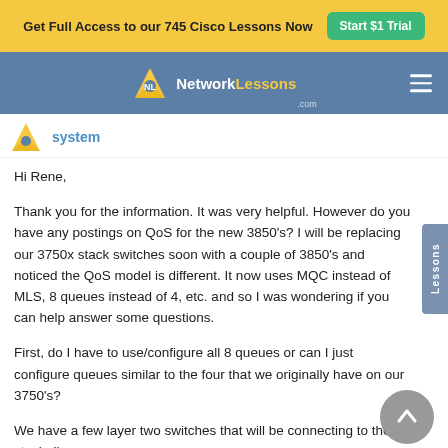Get Full Access to our 745 Cisco Lessons Now  Start $1 Trial
[Figure (logo): NetworkLessons.com logo with navigation bar on blue background]
system
Hi Rene,
Thank you for the information. It was very helpful. However do you have any postings on QoS for the new 3850's? I will be replacing our 3750x stack switches soon with a couple of 3850's and noticed the QoS model is different. It now uses MQC instead of MLS, 8 queues instead of 4, etc. and so I was wondering if you can help answer some questions.
First, do I have to use/configure all 8 queues or can I just configure queues similar to the four that we originally have on our 3750's?
We have a few layer two switches that will be connecting to the stack. I'